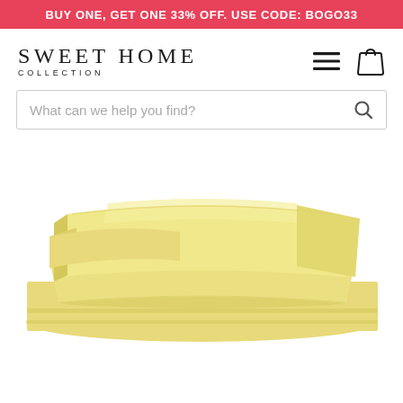BUY ONE, GET ONE 33% OFF. USE CODE: BOGO33
SWEET HOME
COLLECTION
What can we help you find?
[Figure (photo): Stack of folded pale yellow bed sheets on a white background, showing multiple neatly layered sheets of a soft butter-yellow color]